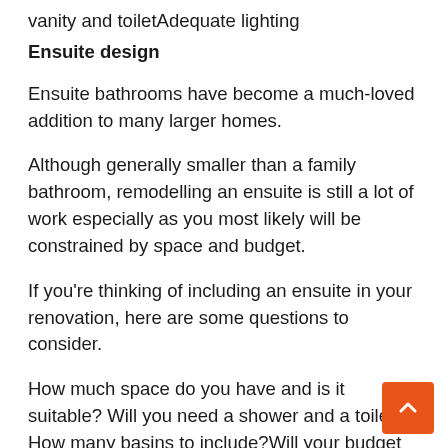vanity and toiletAdequate lighting
Ensuite design
Ensuite bathrooms have become a much-loved addition to many larger homes.
Although generally smaller than a family bathroom, remodelling an ensuite is still a lot of work especially as you most likely will be constrained by space and budget.
If you're thinking of including an ensuite in your renovation, here are some questions to consider.
How much space do you have and is it suitable? Will you need a shower and a toilet?How many basins to include?Will your budget allow luxury